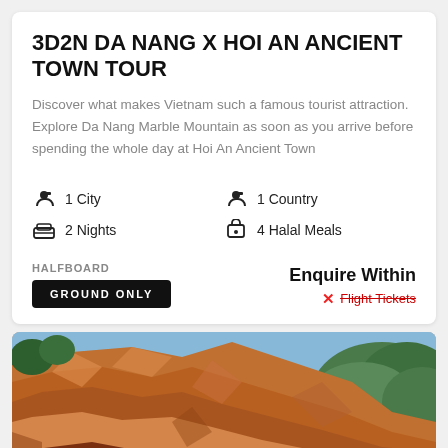3D2N DA NANG X HOI AN ANCIENT TOWN TOUR
Discover what makes Vietnam such a famous tourist attraction. Explore Da Nang Marble Mountain as soon as you arrive before spending the whole day at Hoi An Ancient Town
1 City
2 Nights
1 Country
4 Halal Meals
HALFBOARD
GROUND ONLY
Enquire Within
Flight Tickets
[Figure (photo): Orange-red rocky cliff face with green trees and blue sky background — Da Nang / Vietnam landscape]